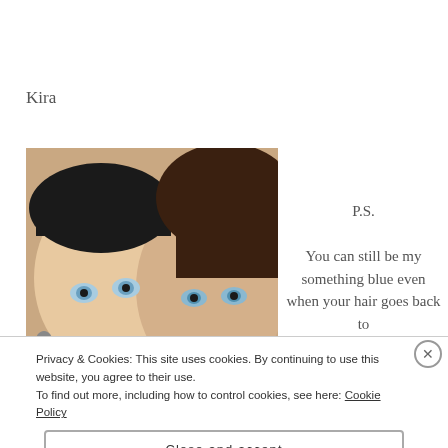Kira
[Figure (photo): Two young women with dark hair and red lipstick posing together for a selfie-style photo]
P.S.
You can still be my something blue even when your hair goes back to
Privacy & Cookies: This site uses cookies. By continuing to use this website, you agree to their use.
To find out more, including how to control cookies, see here: Cookie Policy
Close and accept